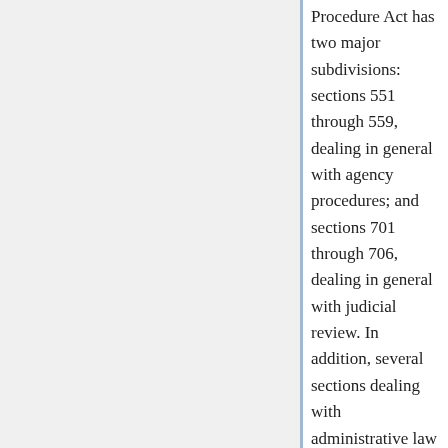Procedure Act has two major subdivisions: sections 551 through 559, dealing in general with agency procedures; and sections 701 through 706, dealing in general with judicial review. In addition, several sections dealing with administrative law judges (§§ 1305, 3105, 3344, 5372,